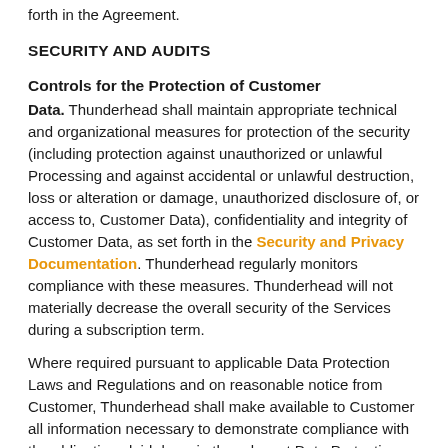forth in the Agreement.
SECURITY AND AUDITS
Controls for the Protection of Customer Data.
Thunderhead shall maintain appropriate technical and organizational measures for protection of the security (including protection against unauthorized or unlawful Processing and against accidental or unlawful destruction, loss or alteration or damage, unauthorized disclosure of, or access to, Customer Data), confidentiality and integrity of Customer Data, as set forth in the Security and Privacy Documentation. Thunderhead regularly monitors compliance with these measures. Thunderhead will not materially decrease the overall security of the Services during a subscription term.
Where required pursuant to applicable Data Protection Laws and Regulations and on reasonable notice from Customer, Thunderhead shall make available to Customer all information necessary to demonstrate compliance with the obligations laid down in the relevant Data Protection Laws and Regulations and allow for and contribute to